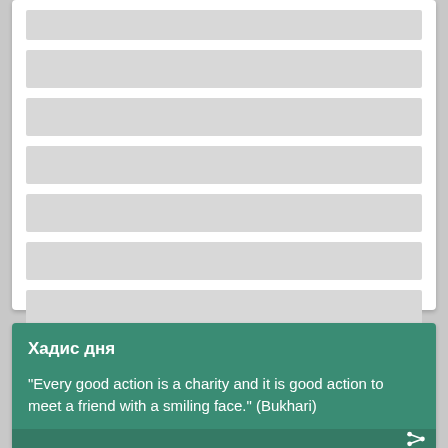[Figure (screenshot): Loading skeleton UI card with multiple grey placeholder bars representing content being loaded]
Хадис дня
"Every good action is a charity and it is good action to meet a friend with a smiling face." (Bukhari)